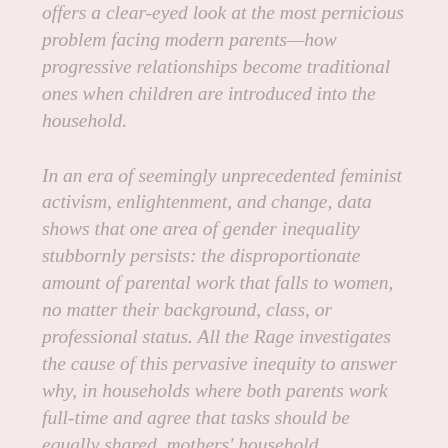offers a clear-eyed look at the most pernicious problem facing modern parents—how progressive relationships become traditional ones when children are introduced into the household.
In an era of seemingly unprecedented feminist activism, enlightenment, and change, data shows that one area of gender inequality stubbornly persists: the disproportionate amount of parental work that falls to women, no matter their background, class, or professional status. All the Rage investigates the cause of this pervasive inequity to answer why, in households where both parents work full-time and agree that tasks should be equally shared, mothers' household management, mental labor, and childcare contributions still outweigh fathers'.